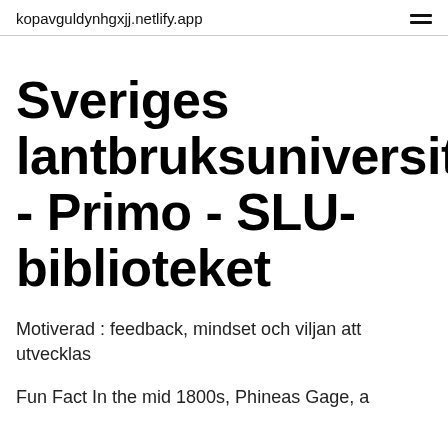kopavguldynhgxjj.netlify.app
Sveriges lantbruksuniversitet - Primo - SLU-biblioteket
Motiverad : feedback, mindset och viljan att utvecklas
Fun Fact In the mid 1800s, Phineas Gage, a